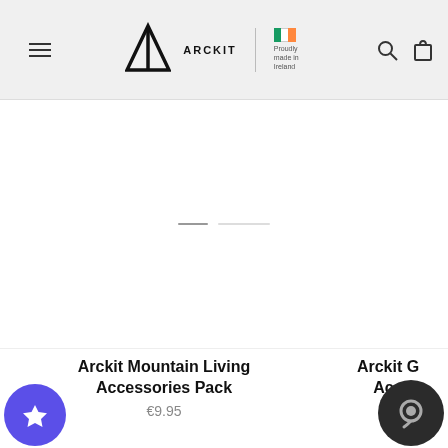Arckit — Proudly made in Ireland
[Figure (screenshot): Empty white product image area with a two-dot slider indicator in the center]
Arckit Mountain Living Accessories Pack
€9.95
Arckit G Acc